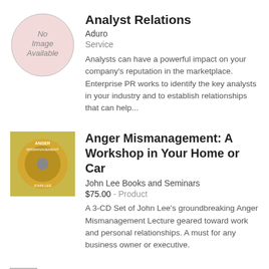[Figure (illustration): No Image Available placeholder circle]
Analyst Relations
Aduro
Service
Analysts can have a powerful impact on your company's reputation in the marketplace. Enterprise PR works to identify the key analysts in your industry and to establish relationships that can help...
[Figure (photo): Product image: CD set for Anger Mismanagement workshop]
Anger Mismanagement: A Workshop in Your Home or Car
John Lee Books and Seminars
$75.00 - Product
A 3-CD Set of John Lee's groundbreaking Anger Mismanagement Lecture geared toward work and personal relationships. A must for any business owner or executive.
Anti-Terrorism Awareness Training